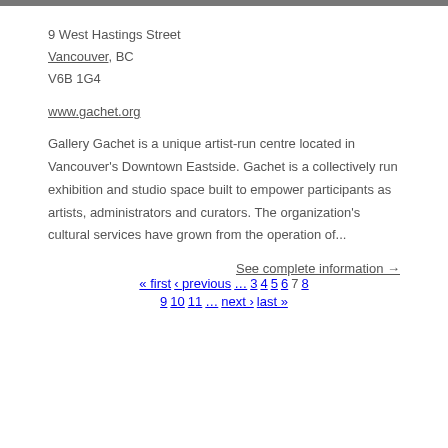9 West Hastings Street
Vancouver, BC
V6B 1G4
www.gachet.org
Gallery Gachet is a unique artist-run centre located in Vancouver's Downtown Eastside. Gachet is a collectively run exhibition and studio space built to empower participants as artists, administrators and curators. The organization's cultural services have grown from the operation of...
See complete information →
« first  ‹ previous  …  3  4  5  6  7  8
9  10  11  …  next ›  last »